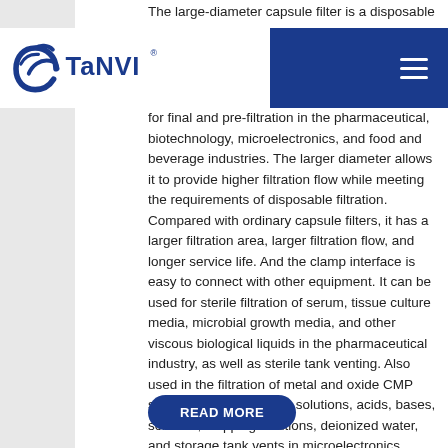The large-diameter capsule filter is a disposable
[Figure (logo): TANVI company logo with blue circular swoosh graphic and TANVI text in blue, with registered trademark symbol]
for final and pre-filtration in the pharmaceutical, biotechnology, microelectronics, and food and beverage industries. The larger diameter allows it to provide higher filtration flow while meeting the requirements of disposable filtration. Compared with ordinary capsule filters, it has a larger filtration area, larger filtration flow, and longer service life. And the clamp interface is easy to connect with other equipment. It can be used for sterile filtration of serum, tissue culture media, microbial growth media, and other viscous biological liquids in the pharmaceutical industry, as well as sterile tank venting. Also used in the filtration of metal and oxide CMP slurries, chemical rinses solutions, acids, bases, solvents, stripping solutions, deionized water, and storage tank vents in microelectronics manufacturing.
READ MORE